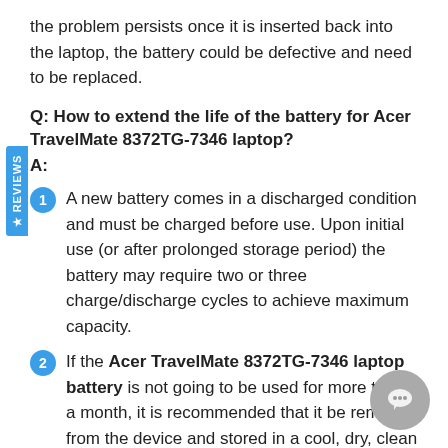the problem persists once it is inserted back into the laptop, the battery could be defective and need to be replaced.
Q: How to extend the life of the battery for Acer TravelMate 8372TG-7346 laptop?
A:
A new battery comes in a discharged condition and must be charged before use. Upon initial use (or after prolonged storage period) the battery may require two or three charge/discharge cycles to achieve maximum capacity.
If the Acer TravelMate 8372TG-7346 laptop battery is not going to be used for more than a month, it is recommended that it be removed from the device and stored in a cool, dry, clean place.
A battery will eventually lose its charge if unused long time. It is necessary to fully recharge the battery after a storage period.
The battery for Acer TravelMate 8372TG-7346 laptop healthy by fully charging and then fully discharging it at least